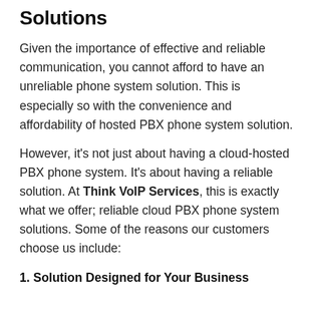Solutions
Given the importance of effective and reliable communication, you cannot afford to have an unreliable phone system solution. This is especially so with the convenience and affordability of hosted PBX phone system solution.
However, it's not just about having a cloud-hosted PBX phone system. It's about having a reliable solution. At Think VoIP Services, this is exactly what we offer; reliable cloud PBX phone system solutions. Some of the reasons our customers choose us include:
1. Solution Designed for Your Business